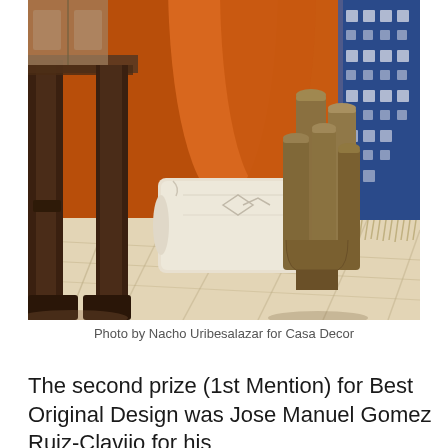[Figure (photo): Interior design photo showing a richly decorated room with burnt orange/terracotta walls and large curved architectural forms in orange. A cream/white textured throw pillow rests against the orange backdrop. On the left is a dark wooden table or furniture piece with heavy carved legs. On the right are metallic bronze/brass cylindrical sculptural side tables or stools with rounded tops arranged in a cluster. The floor features a patterned cream rug with geometric designs. In the background on the right is a blue and white patterned textile or tapestry.]
Photo by Nacho Uribesalazar for Casa Decor
The second prize (1st Mention) for Best Original Design was Jose Manuel Gomez Ruiz-Clavijo for his